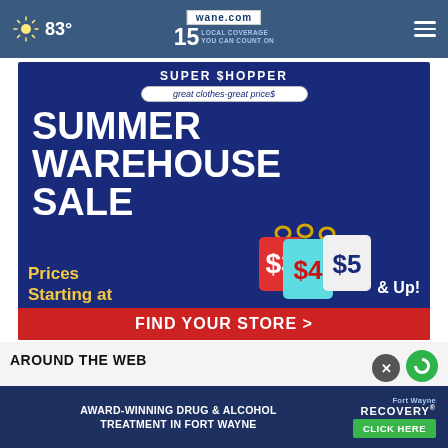wane.com 15 LOCAL COVERAGE YOU CAN COUNT ON  83°
[Figure (infographic): Super Shopper Summer Warehouse Sale advertisement. Text: SUMMER WAREHOUSE SALE, Prices Starting at $3, $4, $5 & Up! FIND YOUR STORE >]
AROUND THE WEB
[Figure (advertisement): Award-Winning Drug & Alcohol Treatment in Fort Wayne — Recovery — Click Here banner ad]